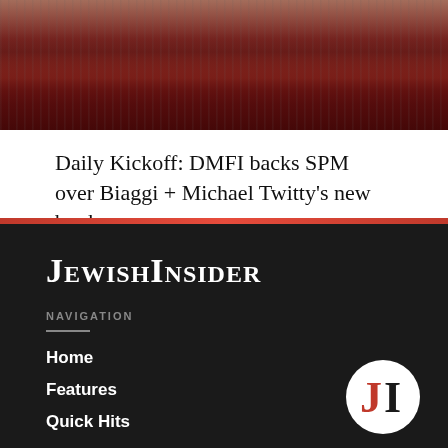[Figure (photo): Partial photo of a person in a dark red/burgundy garment with a light-colored scarf, against a wooden background]
Daily Kickoff: DMFI backs SPM over Biaggi + Michael Twitty’s new book
[Figure (logo): JewishInsider logo text in white serif small-caps on dark background]
NAVIGATION
Home
Features
Quick Hits
[Figure (logo): JI circular logo with red J and black I on white circle]